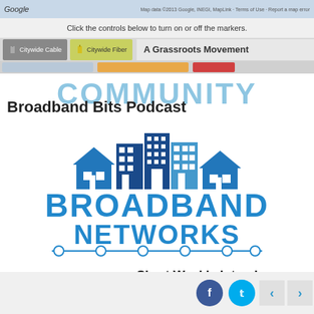[Figure (screenshot): Google Maps screenshot showing citywide cable and fiber map controls with 'A Grassroots Movement' overlay badge]
Click the controls below to turn on or off the markers.
Broadband Bits Podcast
[Figure (logo): Community Broadband Networks podcast logo with blue buildings illustration, COMMUNITY arc text, BROADBAND NETWORKS bold text, and chain dots decoration]
Short Weekly Interviews
[Figure (infographic): PODCAST text in orange (partially visible) at bottom, social media buttons (Facebook, Twitter), and navigation arrows]